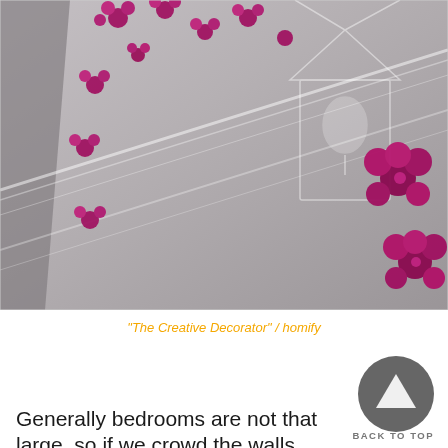[Figure (photo): Close-up photograph of a bedroom wall decorated with pink/magenta flower decals and a white painted birdhouse outline on a grey wall with white molding trim]
"The Creative Decorator" / homify
Generally bedrooms are not that large, so if we crowd the walls